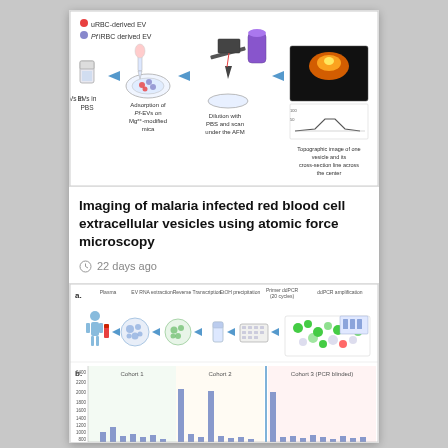[Figure (schematic): AFM imaging workflow diagram: EVs in PBS → Adsorption of PfEVs on Mg2+-modified mica → Dilution with PBS and scan under the AFM → Topographic image of one vesicle and its cross-section line across the center. Legend shows uRBC-derived EV (red dot) and PfRBC derived EV (purple dot).]
Imaging of malaria infected red blood cell extracellular vesicles using atomic force microscopy
22 days ago
[Figure (schematic): Two-part figure: (a) workflow for EV RNA extraction from plasma through reverse transcription, EtOH precipitation, Primer ddPCR (20 cycles), ddPCR amplification. (b) Bar chart showing cohorts 1, 2, and 3 (PCR blinded) with y-axis values up to 2400.]